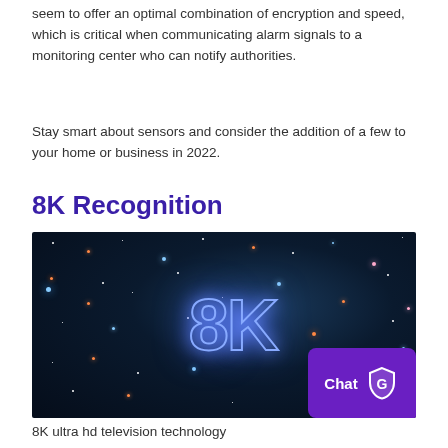seem to offer an optimal combination of encryption and speed, which is critical when communicating alarm signals to a monitoring center who can notify authorities.
Stay smart about sensors and consider the addition of a few to your home or business in 2022.
8K Recognition
[Figure (photo): Space/galaxy background image with neon glowing '8K' text overlay and a purple chat badge with shield icon in the bottom right corner]
8K ultra hd television technology